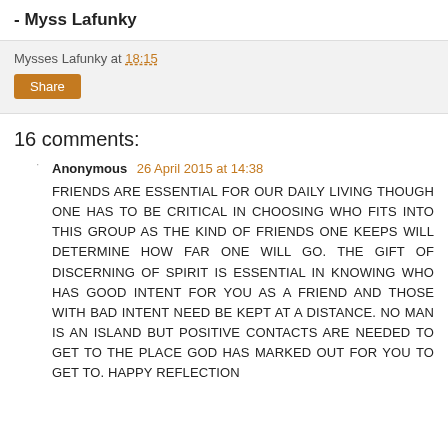- Myss Lafunky
Mysses Lafunky at 18:15
Share
16 comments:
Anonymous 26 April 2015 at 14:38
FRIENDS ARE ESSENTIAL FOR OUR DAILY LIVING THOUGH ONE HAS TO BE CRITICAL IN CHOOSING WHO FITS INTO THIS GROUP AS THE KIND OF FRIENDS ONE KEEPS WILL DETERMINE HOW FAR ONE WILL GO. THE GIFT OF DISCERNING OF SPIRIT IS ESSENTIAL IN KNOWING WHO HAS GOOD INTENT FOR YOU AS A FRIEND AND THOSE WITH BAD INTENT NEED BE KEPT AT A DISTANCE. NO MAN IS AN ISLAND BUT POSITIVE CONTACTS ARE NEEDED TO GET TO THE PLACE GOD HAS MARKED OUT FOR YOU TO GET TO. HAPPY REFLECTION